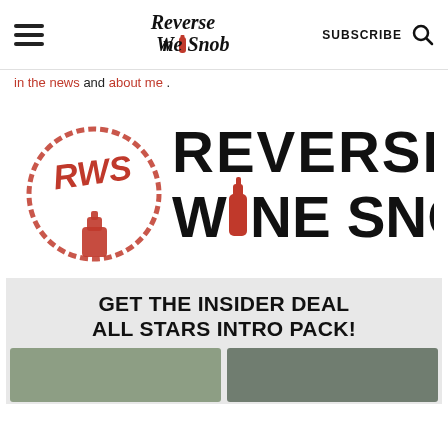Reverse Wine Snob — navigation bar with hamburger menu, logo, SUBSCRIBE, and search icon
in the news and about me.
[Figure (logo): Reverse Wine Snob large logo with RWS red stamp circle on left and handwritten-style 'Reverse Wine Snob' text with red wine bottle replacing the 'o' in Wine]
GET THE INSIDER DEAL ALL STARS INTRO PACK!
[Figure (photo): Two thumbnail images at the bottom of the promo box section]